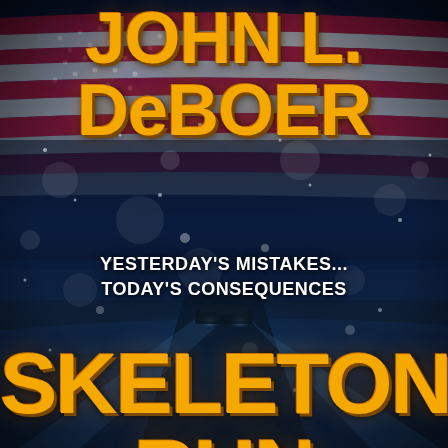[Figure (illustration): Book cover for 'Skeleton Run' by John L. DeBoer. Dark blue atmospheric background with an American flag draped across the upper portion showing red and white stripes and stars against a dark sky. Lower portion shows a snowy winter road scene with a car's headlights visible in the distance through a blizzard. Bokeh light effects throughout.]
JOHN L. DeBOER
YESTERDAY'S MISTAKES... TODAY'S CONSEQUENCES
SKELETON RUN